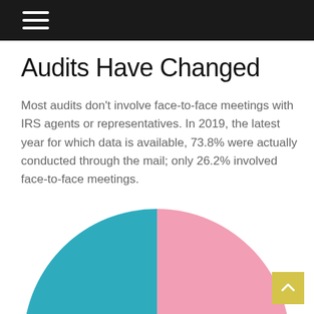Audits Have Changed
Most audits don't involve face-to-face meetings with IRS agents or representatives. In 2019, the latest year for which data is available, 73.8% were actually conducted through the mail; only 26.2% involved face-to-face meetings.
[Figure (pie-chart): Audit types 2019]